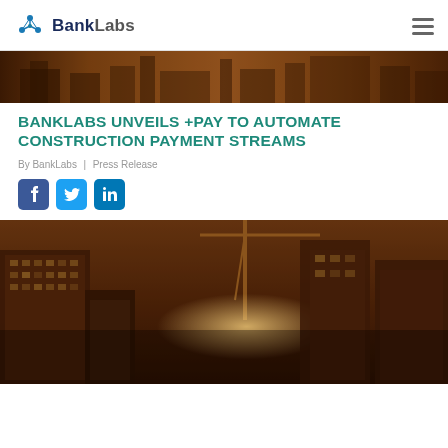BankLabs
[Figure (photo): Sepia-toned strip photo of city construction buildings]
BANKLABS UNVEILS +PAY TO AUTOMATE CONSTRUCTION PAYMENT STREAMS
By BankLabs | Press Release
[Figure (infographic): Social share buttons: Facebook, Twitter, LinkedIn]
[Figure (photo): Sepia-toned night photo of city buildings with construction cranes]